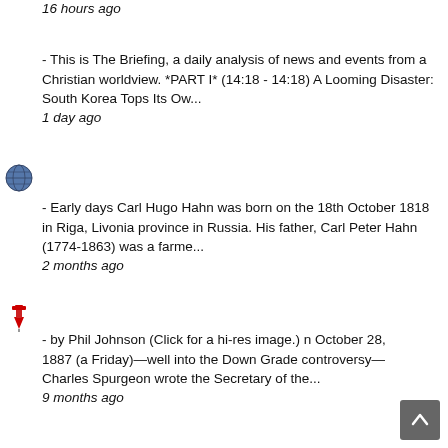16 hours ago
- This is The Briefing, a daily analysis of news and events from a Christian worldview. *PART I* (14:18 - 14:18) A Looming Disaster: South Korea Tops Its Ow...
1 day ago
[Figure (illustration): Globe/world icon]
- Early days Carl Hugo Hahn was born on the 18th October 1818 in Riga, Livonia province in Russia. His father, Carl Peter Hahn (1774-1863) was a farme...
2 months ago
[Figure (illustration): Red pushpin/map marker icon]
- by Phil Johnson (Click for a hi-res image.) n October 28, 1887 (a Friday)—well into the Down Grade controversy—Charles Spurgeon wrote the Secretary of the...
9 months ago